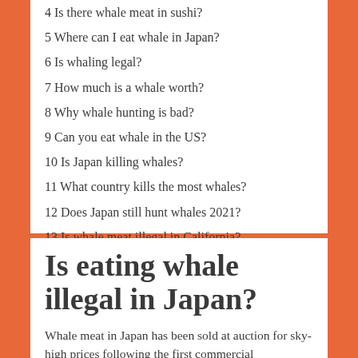4 Is there whale meat in sushi?
5 Where can I eat whale in Japan?
6 Is whaling legal?
7 How much is a whale worth?
8 Why whale hunting is bad?
9 Can you eat whale in the US?
10 Is Japan killing whales?
11 What country kills the most whales?
12 Does Japan still hunt whales 2021?
13 Is whale meat illegal in California?
14 What was the name of the restaurant they shut down after a sting operation for selling whale meat at the beginning of the movie *?
Is eating whale illegal in Japan?
Whale meat in Japan has been sold at auction for sky-high prices following the first commercial